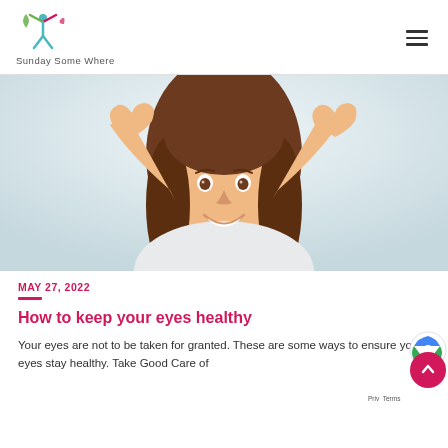Sunday Some Where
[Figure (photo): A smiling young woman with long brown hair making a heart shape with both hands in front of her eyes, against a light background.]
MAY 27, 2022
How to keep your eyes healthy
Your eyes are not to be taken for granted. These are some ways to ensure your eyes stay healthy. Take Good Care of